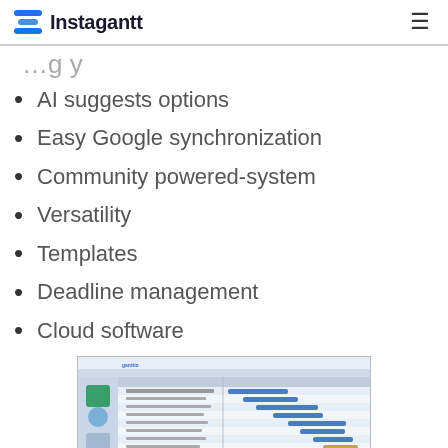Instagantt
AI suggests options
Easy Google synchronization
Community powered-system
Versatility
Templates
Deadline management
Cloud software
[Figure (screenshot): Screenshot of Instagantt Gantt chart project management software interface showing task list and Gantt timeline bars]